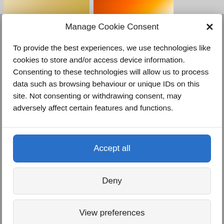[Figure (screenshot): Top strip showing partial website images behind the cookie consent modal]
Manage Cookie Consent
To provide the best experiences, we use technologies like cookies to store and/or access device information. Consenting to these technologies will allow us to process data such as browsing behaviour or unique IDs on this site. Not consenting or withdrawing consent, may adversely affect certain features and functions.
Accept all
Deny
View preferences
Cookie Policy  Privacy policy